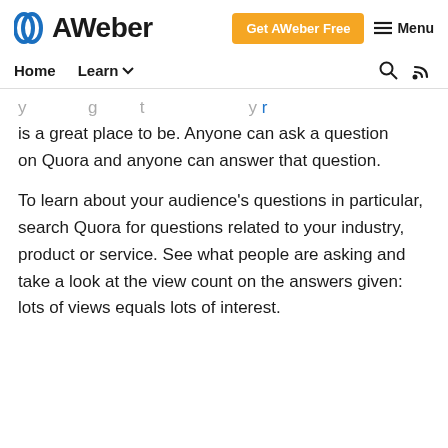AWeber — Get AWeber Free | Menu
Home | Learn
is a great place to be. Anyone can ask a question on Quora and anyone can answer that question.
To learn about your audience's questions in particular, search Quora for questions related to your industry, product or service. See what people are asking and take a look at the view count on the answers given: lots of views equals lots of interest.